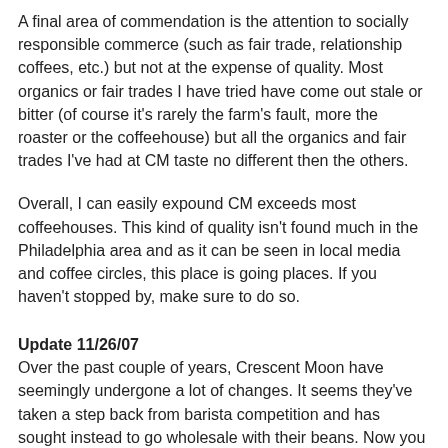A final area of commendation is the attention to socially responsible commerce (such as fair trade, relationship coffees, etc.) but not at the expense of quality. Most organics or fair trades I have tried have come out stale or bitter (of course it's rarely the farm's fault, more the roaster or the coffeehouse) but all the organics and fair trades I've had at CM taste no different then the others.
Overall, I can easily expound CM exceeds most coffeehouses. This kind of quality isn't found much in the Philadelphia area and as it can be seen in local media and coffee circles, this place is going places. If you haven't stopped by, make sure to do so.
Update 11/26/07
Over the past couple of years, Crescent Moon have seemingly undergone a lot of changes. It seems they've taken a step back from barista competition and has sought instead to go wholesale with their beans. Now you can get their coffee in most NJ and Philly Whole Foods locations.